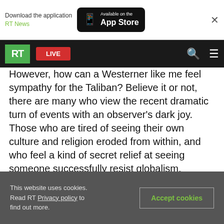[Figure (screenshot): App Store download banner with RT News app promotion]
RT LIVE
However, how can a Westerner like me feel sympathy for the Taliban? Believe it or not, there are many who view the recent dramatic turn of events with an observer's dark joy. Those who are tired of seeing their own culture and religion eroded from within, and who feel a kind of secret relief at seeing someone successfully resist globalism, feminism, LGBTQ+ and critical race theory (CRT) ideology. They can see that their society has been turned into something dark by a manufactured value-system, promulgated by
This website uses cookies. Read RT Privacy policy to find out more.